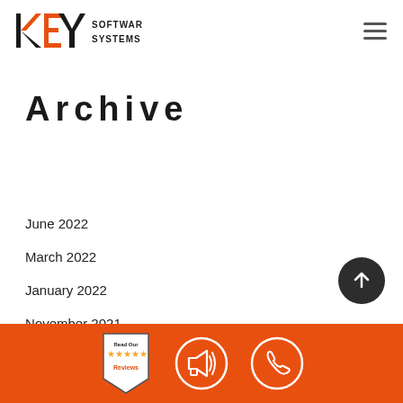KEY SOFTWARE SYSTEMS
Archive
June 2022
March 2022
January 2022
November 2021
October 2021
Read Our Reviews | Megaphone icon | Phone icon